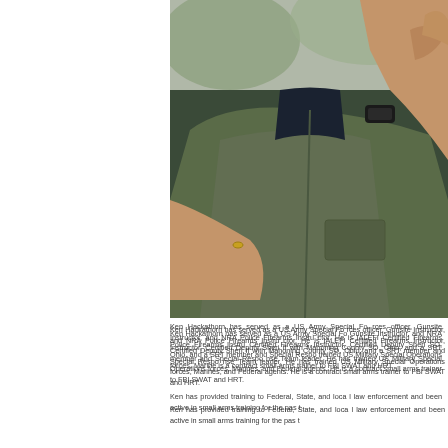[Figure (photo): A man wearing an olive/dark green jacket holding what appears to be a firearm against his chest; the photo is cropped showing torso and hands, with a blurred outdoor background]
Ken Hackathorn has served as a US Army Special Forces officer, Gunsite Instructor, and NRA Police Firearms Instructor. He is IALEFI Certified Firearms Instructor, Certified Deputy Sheriff with Mahoning County SO, Ohio, and a SRT member and Special Response Team leader. He has trained US Military Special Operations forces, Marines, and Federal agents. He is a contract small arms trainer to FBI SWAT and HRT.
Ken has provided training to Federal, State, and local law enforcement and been active in small arms training for the past...